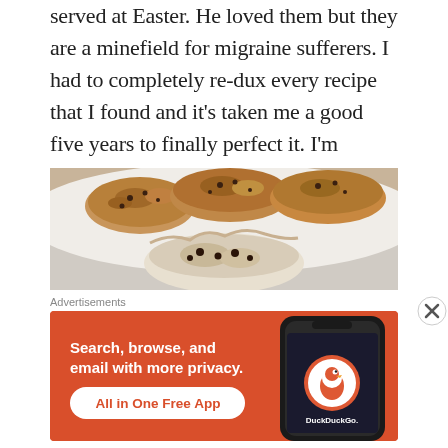served at Easter. He loved them but they are a minefield for migraine sufferers. I had to completely re-dux every recipe that I found and it's taken me a good five years to finally perfect it. I'm delighted to share it with you.
[Figure (photo): Close-up photo of baked hot cross buns on a white plate, with one broken open showing the interior with currants/raisins]
Advertisements
[Figure (screenshot): DuckDuckGo advertisement banner with orange background. Text reads: Search, browse, and email with more privacy. All in One Free App. Shows DuckDuckGo logo and a smartphone.]